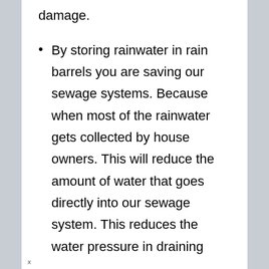damage.
By storing rainwater in rain barrels you are saving our sewage systems. Because when most of the rainwater gets collected by house owners. This will reduce the amount of water that goes directly into our sewage system. This reduces the water pressure in draining